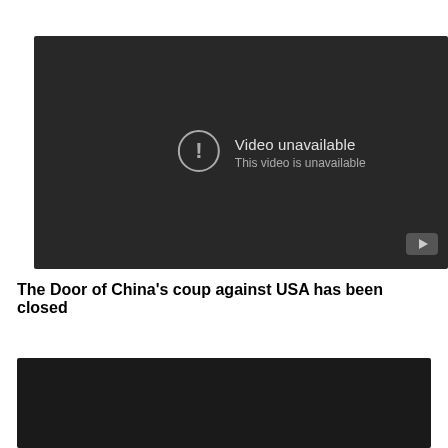[Figure (screenshot): YouTube video player showing 'Video unavailable' error message with warning icon and YouTube logo in bottom right corner on dark background.]
The Door of China’s coup against USA has been closed
[Figure (screenshot): Second video player area, dark/black background, content not visible.]